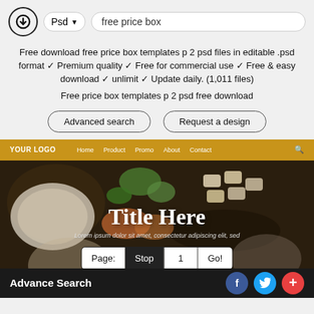Psd ▼  free price box
Free download free price box templates p 2 psd files in editable .psd format ✓ Premium quality ✓ Free for commercial use ✓ Free & easy download ✓ unlimit ✓ Update daily. (1,011 files)
Free price box templates p 2 psd free download
Advanced search
Request a design
[Figure (screenshot): Website template preview showing a food-themed site with gold navigation bar (YOUR LOGO, Home, Product, Promo, About, Contact), a dark food background image, 'Title Here' heading in serif font, Lorem ipsum subtitle, pagination controls (Page: Stop 1 Go!), ORDER NOW button, Advance Search bar, and social media icons (Facebook, Twitter, plus button).]